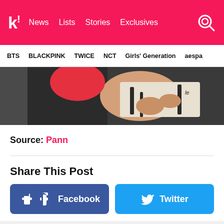koreaboo — News | Lists | Stories | Exclusives
BTS | BLACKPINK | TWICE | NCT | Girls' Generation | aespa
[Figure (photo): Cropped photo of a person with dark hair bending down, wearing a patterned white and black top and a red item visible, close-up overhead view]
Source: Pann
Share This Post
Facebook
Twitter